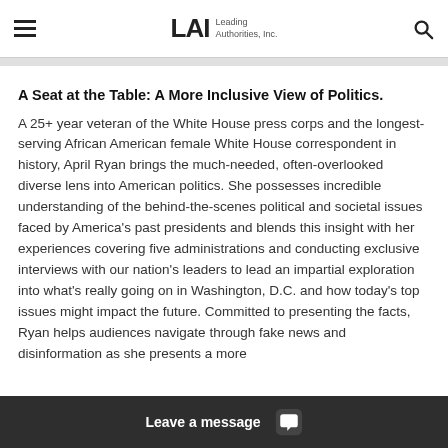LAI Leading Authorities, Inc.
A Seat at the Table: A More Inclusive View of Politics.
A 25+ year veteran of the White House press corps and the longest-serving African American female White House correspondent in history, April Ryan brings the much-needed, often-overlooked diverse lens into American politics. She possesses incredible understanding of the behind-the-scenes political and societal issues faced by America's past presidents and blends this insight with her experiences covering five administrations and conducting exclusive interviews with our nation's leaders to lead an impartial exploration into what's really going on in Washington, D.C. and how today's top issues might impact the future. Committed to presenting the facts, Ryan helps audiences navigate through fake news and disinformation as she presents a more
Leave a message